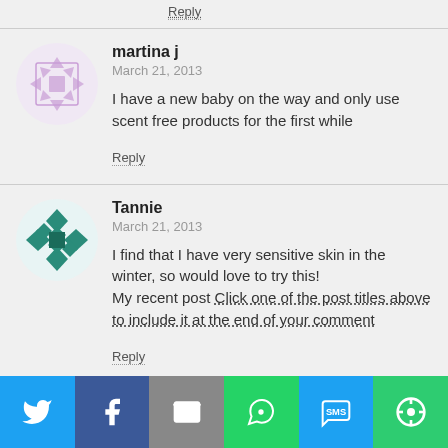Reply
[Figure (illustration): Pink geometric avatar for martina j]
martina j
March 21, 2013
I have a new baby on the way and only use scent free products for the first while
Reply
[Figure (illustration): Teal geometric avatar for Tannie]
Tannie
March 21, 2013
I find that I have very sensitive skin in the winter, so would love to try this!
My recent post Click one of the post titles above to include it at the end of your comment
Reply
[Figure (illustration): Blue geometric avatar for Ted Kooper]
Ted Kooper
[Figure (infographic): Social sharing bar with Twitter, Facebook, Email, WhatsApp, SMS, and other icons]